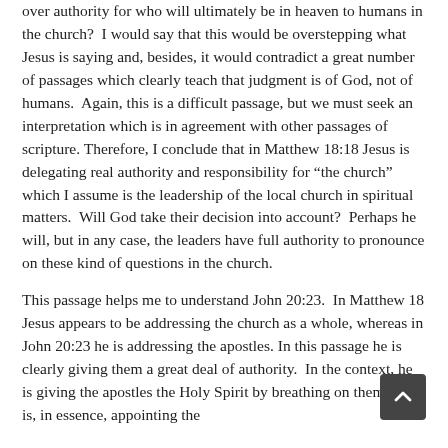over authority for who will ultimately be in heaven to humans in the church?  I would say that this would be overstepping what Jesus is saying and, besides, it would contradict a great number of passages which clearly teach that judgment is of God, not of humans.  Again, this is a difficult passage, but we must seek an interpretation which is in agreement with other passages of scripture. Therefore, I conclude that in Matthew 18:18 Jesus is delegating real authority and responsibility for “the church” which I assume is the leadership of the local church in spiritual matters.  Will God take their decision into account?  Perhaps he will, but in any case, the leaders have full authority to pronounce on these kind of questions in the church.
This passage helps me to understand John 20:23.  In Matthew 18 Jesus appears to be addressing the church as a whole, whereas in John 20:23 he is addressing the apostles.  In this passage he is clearly giving them a great deal of authority.  In the context, he is giving the apostles the Holy Spirit by breathing on them.  He is, in essence, appointing the